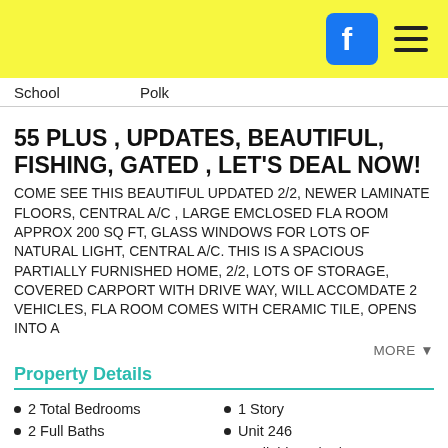School  Polk
55 PLUS , UPDATES, BEAUTIFUL, FISHING, GATED , LET'S DEAL NOW!
COME SEE THIS BEAUTIFUL UPDATED 2/2, NEWER LAMINATE FLOORS, CENTRAL A/C , LARGE EMCLOSED FLA ROOM APPROX 200 SQ FT, GLASS WINDOWS FOR LOTS OF NATURAL LIGHT, CENTRAL A/C. THIS IS A SPACIOUS PARTIALLY FURNISHED HOME, 2/2, LOTS OF STORAGE, COVERED CARPORT WITH DRIVE WAY, WILL ACCOMDATE 2 VEHICLES, FLA ROOM COMES WITH CERAMIC TILE, OPENS INTO A
MORE ▼
Property Details
2 Total Bedrooms
1 Story
2 Full Baths
Unit 246
984 Sq. Ft.
Available 06/21/2022
Built in 1973
Mobile Home Style